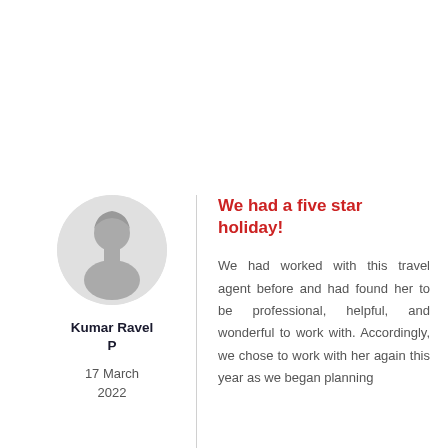[Figure (illustration): Circular avatar placeholder showing a grey silhouette of a person on a light grey background]
Kumar Ravel P
17 March 2022
We had a five star holiday!
We had worked with this travel agent before and had found her to be professional, helpful, and wonderful to work with. Accordingly, we chose to work with her again this year as we began planning